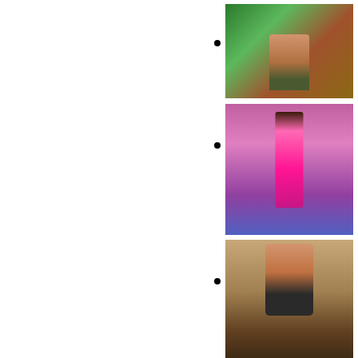[Photo 1: person in colorful background]
[Photo 2: person dancing in pink outfit on stage]
[Photo 3: person on stairs]
[Photo 4: person in black outfit posing]
[Photo 5: blonde person smiling]
[Photo 6: two people posing]